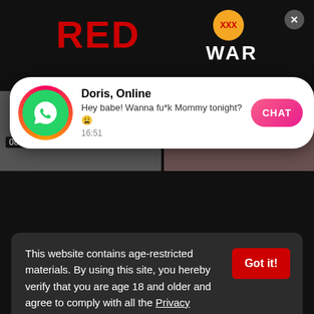[Figure (screenshot): Adult website screenshot showing site logo 'RED WAR XXX', WhatsApp-style notification popup from 'Doris, Online' saying 'Hey babe! Wanna fu*k Mommy tonight?' with a CHAT button, video thumbnails with timestamps 08:58 and 16:58, and an age verification/cookie consent modal overlay.]
Doris, Online
Hey babe! Wanna fu*k Mommy tonight?😩
16:51
CHAT
08:58
16:58 1oM.com
This website contains age-restricted materials. By using this site, you hereby verify that you are age 18 and older and agree to comply with all the Privacy Policy.
We use cookies to provide you the best possible experience on our website and to monitor website traffic. Cookies Policy.
Got it!